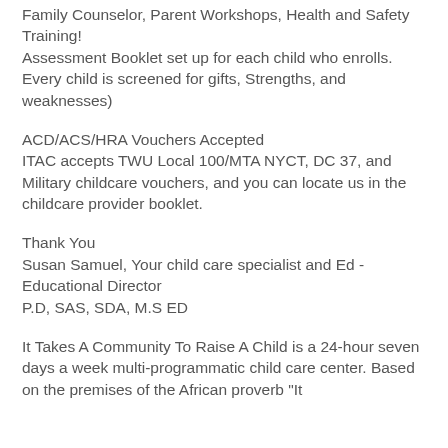Family Counselor, Parent Workshops, Health and Safety Training!
Assessment Booklet set up for each child who enrolls. Every child is screened for gifts, Strengths, and weaknesses)
ACD/ACS/HRA Vouchers Accepted
ITAC accepts TWU Local 100/MTA NYCT, DC 37, and Military childcare vouchers, and you can locate us in the childcare provider booklet.
Thank You
Susan Samuel, Your child care specialist and Ed - Educational Director
P.D, SAS, SDA, M.S ED
It Takes A Community To Raise A Child is a 24-hour seven days a week multi-programmatic child care center. Based on the premises of the African proverb "It